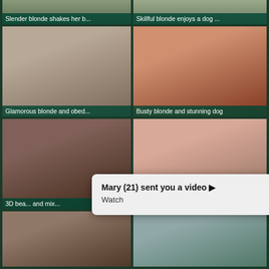[Figure (screenshot): Video thumbnail grid showing adult content video titles and thumbnails with a notification popup overlay]
Slender blonde shakes her b...
Skillful blonde enjoys a dog ...
Glamorous blonde and obed...
Busty blonde and stunning dog
3D bea... and mix...
Mary (21) sent you a video ▶
Watch